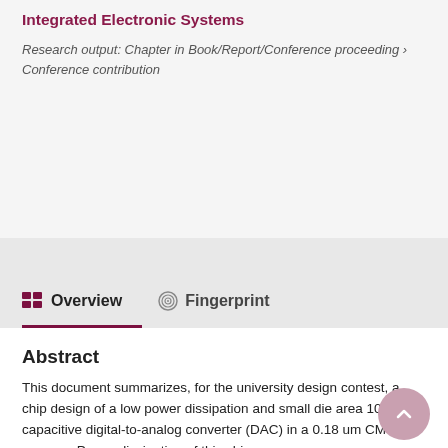Integrated Electronic Systems
Research output: Chapter in Book/Report/Conference proceeding › Conference contribution
Overview
Fingerprint
Abstract
This document summarizes, for the university design contest, a chip design of a low power dissipation and small die area 10-bit capacitive digital-to-analog converter (DAC) in a 0.18 um CMOS process. Power dissipation of this chip